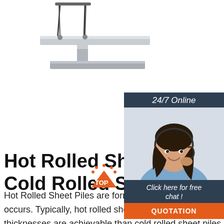[Figure (photo): Hot rolled steel sheet pile / I-beam product photo, metallic silver finish, suspended by cables, on white background]
[Figure (photo): Customer support widget: dark blue panel with '24/7 Online' header, photo of smiling woman wearing headset, 'Click here for free chat!' text, and orange QUOTATION button]
Hot Rolled Sheet Piles & Cold Rolled Sheet Piles
Hot Rolled Sheet Piles are formed by processing steel with high temperatures as the rolling process occurs. Typically, hot rolled sheet piles are produced to BS EN 10248 Part 1 & 2. Greater thicknesses are achievable than cold rolled sheet piles. The interlocking clutch …